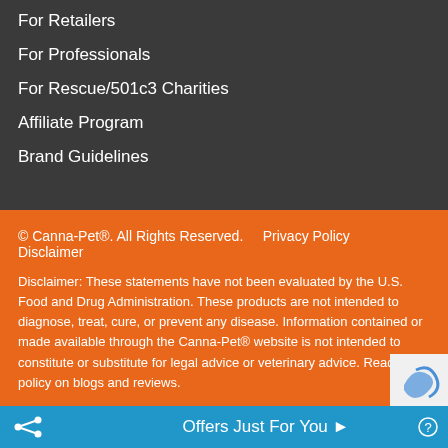For Retailers
For Professionals
For Rescue/501c3 Charities
Affiliate Program
Brand Guidelines
© Canna-Pet®. All Rights Reserved.    Privacy Policy
Disclaimer
Disclaimer: These statements have not been evaluated by the U.S. Food and Drug Administration. These products are not intended to diagnose, treat, cure, or prevent any disease. Information contained or made available through the Canna-Pet® website is not intended to constitute or substitute for legal advice or veterinary advice. Read our policy on blogs and reviews.
Offers Just For You ▶